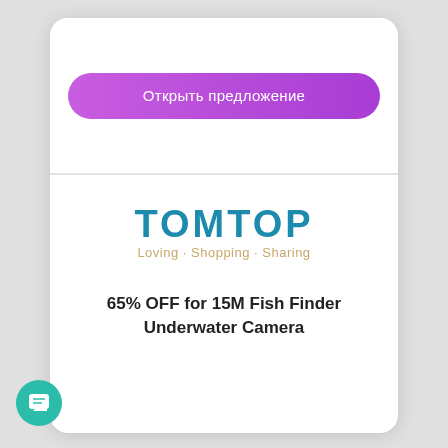[Figure (screenshot): Purple rounded button with Russian text 'Открыть предложение' (Open offer) on white background]
[Figure (logo): TOMTOP logo with tagline 'Loving·Shopping·Sharing']
65% OFF for 15M Fish Finder Underwater Camera